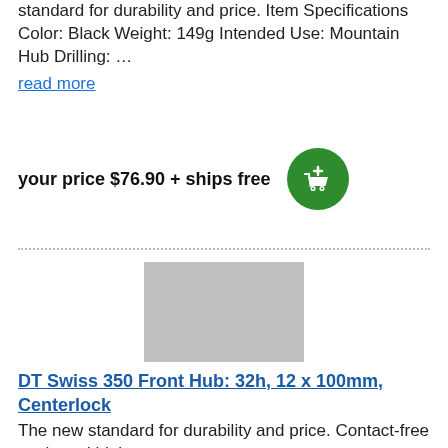standard for durability and price. Item Specifications Color: Black Weight: 149g Intended Use: Mountain Hub Drilling: …
read more
your price $76.90 + ships free
[Figure (other): Green add-to-cart button with shopping cart icon]
[Figure (photo): Product image placeholder (grey rectangle) for DT Swiss 350 Front Hub]
DT Swiss 350 Front Hub: 32h, 12 x 100mm, Centerlock
The new standard for durability and price. Contact-free seals and high precision build guarantee smooth…